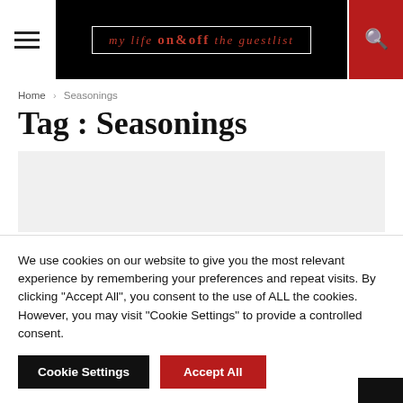My Life On & Off The Guestlist
Home › Seasonings
Tag : Seasonings
[Figure (other): Gray advertisement placeholder area]
We use cookies on our website to give you the most relevant experience by remembering your preferences and repeat visits. By clicking "Accept All", you consent to the use of ALL the cookies. However, you may visit "Cookie Settings" to provide a controlled consent.
Cookie Settings  Accept All